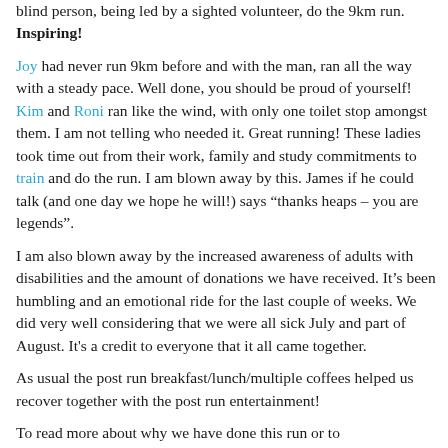blind person, being led by a sighted volunteer, do the 9km run. Inspiring!
Joy had never run 9km before and with the man, ran all the way with a steady pace. Well done, you should be proud of yourself! Kim and Roni ran like the wind, with only one toilet stop amongst them. I am not telling who needed it. Great running! These ladies took time out from their work, family and study commitments to train and do the run. I am blown away by this. James if he could talk (and one day we hope he will!) says “thanks heaps – you are legends”.
I am also blown away by the increased awareness of adults with disabilities and the amount of donations we have received. It’s been humbling and an emotional ride for the last couple of weeks. We did very well considering that we were all sick July and part of August. It's a credit to everyone that it all came together.
As usual the post run breakfast/lunch/multiple coffees helped us recover together with the post run entertainment!
To read more about why we have done this run or to